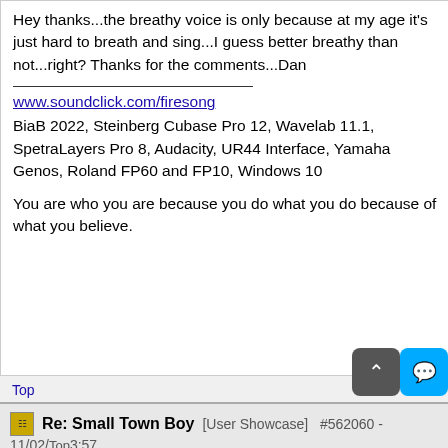Hey thanks...the breathy voice is only because at my age it's just hard to breath and sing...I guess better breathy than not...right? Thanks for the comments...Dan
www.soundclick.com/firesong
BiaB 2022, Steinberg Cubase Pro 12, Wavelab 11.1, SpetraLayers Pro 8, Audacity, UR44 Interface, Yamaha Genos, Roland FP60 and FP10, Windows 10
You are who you are because you do what you do because of what you believe.
Top
Re: Small Town Boy [User Showcase] #562060 - 11/02/ Top 3:57
[Re: firesong]